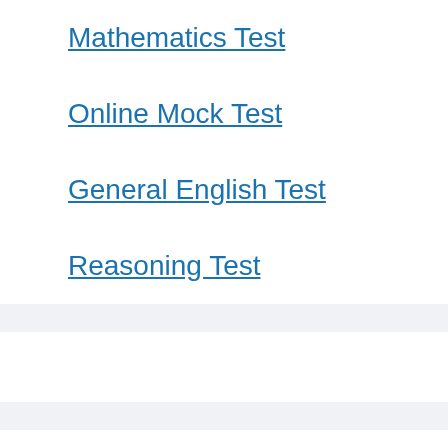Mathematics Test
Online Mock Test
General English Test
Reasoning Test
School Study
Class 10th Bengali